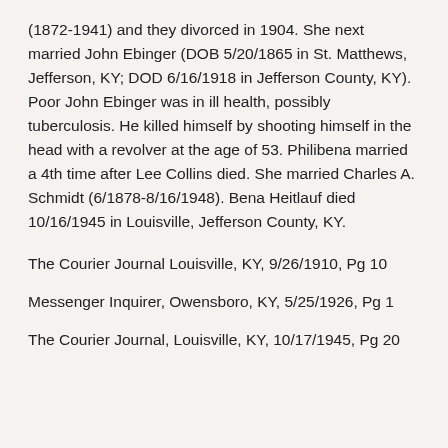(1872-1941) and they divorced in 1904. She next married John Ebinger (DOB 5/20/1865 in St. Matthews, Jefferson, KY; DOD 6/16/1918 in Jefferson County, KY). Poor John Ebinger was in ill health, possibly tuberculosis. He killed himself by shooting himself in the head with a revolver at the age of 53. Philibena married a 4th time after Lee Collins died. She married Charles A. Schmidt (6/1878-8/16/1948). Bena Heitlauf died 10/16/1945 in Louisville, Jefferson County, KY.
The Courier Journal Louisville, KY, 9/26/1910, Pg 10
Messenger Inquirer, Owensboro, KY, 5/25/1926, Pg 1
The Courier Journal, Louisville, KY, 10/17/1945, Pg 20